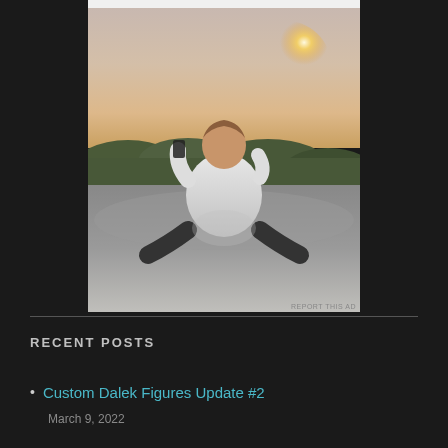[Figure (photo): A young man sitting on a rock from behind, holding up a phone/camera to photograph the sunset, wearing a white t-shirt, with trees and landscape in the background.]
REPORT THIS AD
RECENT POSTS
Custom Dalek Figures Update #2
March 9, 2022